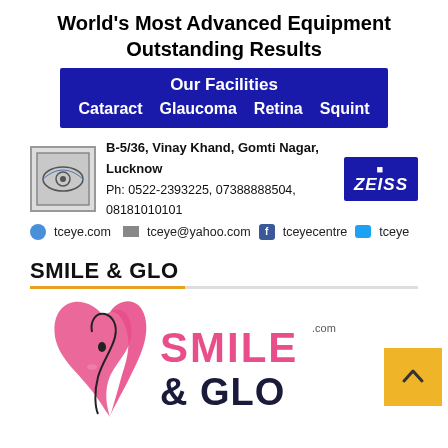World's Most Advanced Equipment Outstanding Results
[Figure (infographic): Blue banner showing Our Facilities with items: Cataract, Glaucoma, Retina, Squint]
[Figure (logo): TC Eye Centre logo with eye symbol, address B-5/36 Vinay Khand Gomti Nagar Lucknow, phone numbers, and Zeiss logo]
tceye.com  tceye@yahoo.com  tceyecentre  tceye
SMILE & GLO
[Figure (logo): Smile & Glo dental/beauty brand logo with pink heart/tooth graphic and text SMILE & GLO .com]